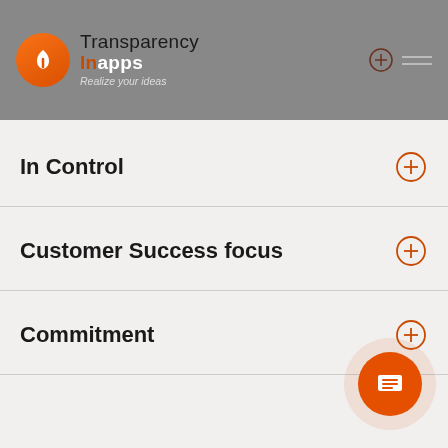Transparency in apps — Realize your ideas
In Control
Customer Success focus
Commitment
[Figure (other): Orange circular chat/menu button in bottom right corner]